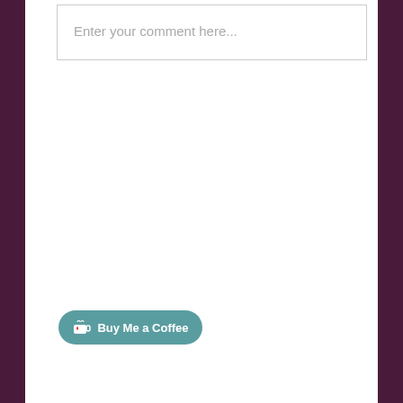[Figure (screenshot): Comment input text box with placeholder text 'Enter your comment here...']
[Figure (screenshot): Buy Me a Coffee button with teal/dark cyan rounded pill shape and white text]
[Figure (screenshot): Podchaser banner showing podcast logo, PODCHASER text, stars, and 'No ratings yet']
[Figure (screenshot): Apple Podcasts badge with purple podcast icon and text 'Listen on Apple Podcasts']